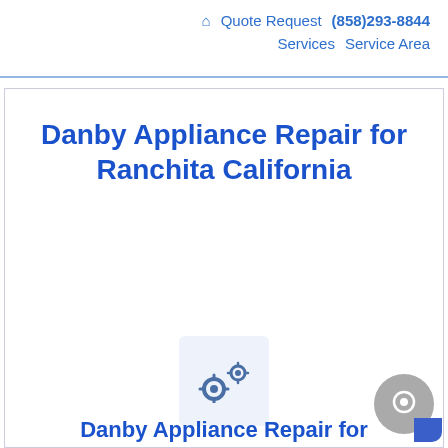🏠 Quote Request  (858)293-8844  Services  Service Area
Danby Appliance Repair for Ranchita California
[Figure (illustration): Two gear icons (settings/repair symbol) inside a light blue rounded rectangle box]
Danby Appliance Repair for